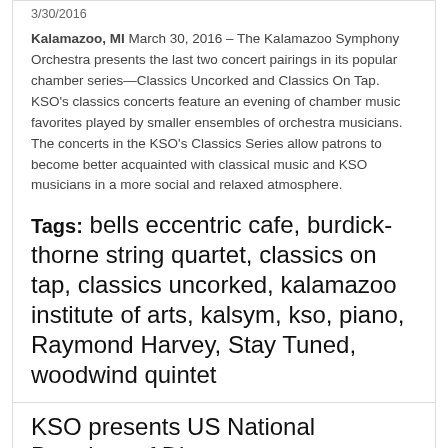3/30/2016
Kalamazoo, MI March 30, 2016 – The Kalamazoo Symphony Orchestra presents the last two concert pairings in its popular chamber series—Classics Uncorked and Classics On Tap. KSO's classics concerts feature an evening of chamber music favorites played by smaller ensembles of orchestra musicians. The concerts in the KSO's Classics Series allow patrons to become better acquainted with classical music and KSO musicians in a more social and relaxed atmosphere.
Tags: bells eccentric cafe, burdick-thorne string quartet, classics on tap, classics uncorked, kalamazoo institute of arts, kalsym, kso, piano, Raymond Harvey, Stay Tuned, woodwind quintet
Read More
KSO presents US National Premiere of Disney